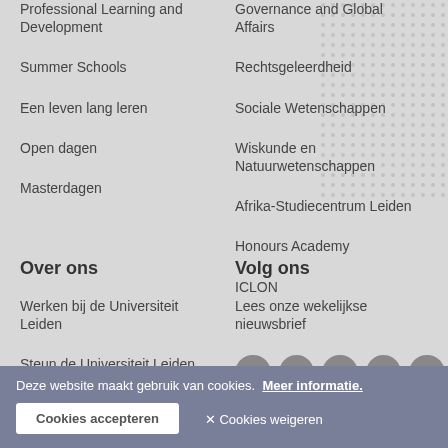Professional Learning and Development
Summer Schools
Een leven lang leren
Open dagen
Masterdagen
Governance and Global Affairs
Rechtsgeleerdheid
Sociale Wetenschappen
Wiskunde en Natuurwetenschappen
Afrika-Studiecentrum Leiden
Honours Academy
ICLON
Over ons
Volg ons
Werken bij de Universiteit Leiden
Steun de Universiteit Leiden
Alumni
Lees onze wekelijkse nieuwsbrief
[Figure (illustration): Social media icons: Facebook, Twitter, YouTube, LinkedIn, Instagram]
Deze website maakt gebruik van cookies. Meer informatie.
Cookies accepteren
✕ Cookies weigeren